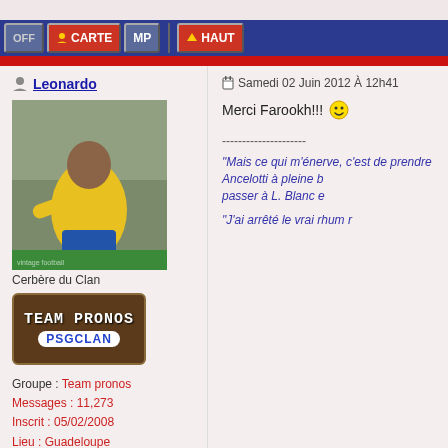OFF | CARTE | MP | HAUT
Leonardo
[Figure (photo): Photo of a football player wearing yellow Brazil jersey and blue shorts, appears to be Ronaldo or Brazilian footballer, vintage photo]
Cerbère du Clan
[Figure (logo): Team Pronos PSGClan badge, brown/dark background with white text TEAM PRONOS and blue text PSGCLAN]
Groupe : Team pronos
Messages : 11,273
Inscrit : 05/02/2008
Lieu : Guadeloupe
Membre n° 3,947
Drapeau
Samedi 02 Juin 2012 À 12h41
Merci Farookh!!! 🙂
---------------------
"Mais ce qui m'énerve, c'est de prendre Ancelotti à pleine b... passer à L. Blanc e
"J'ai arrêté le vrai rhum r